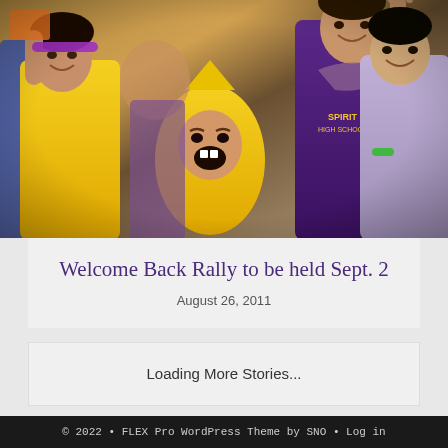[Figure (photo): Group of high school students cheering at a rally; one student in the center wears a yellow banana costume with mouth open in excitement; other students in purple and yellow clothing cheer around them.]
Welcome Back Rally to be held Sept. 2
August 26, 2011
Loading More Stories...
© 2022 • FLEX Pro WordPress Theme by SNO • Log in